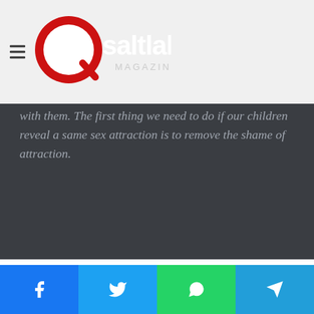Q Salt Lake Magazine
with them. The first thing we need to do if our children reveal a same sex attraction is to remove the shame of attraction.
We get it. You want to have sex with Eva Mendes but don't. Congratulations on your restraint.
A child who feels shame will quickly learn to
Facebook | Twitter | WhatsApp | Telegram